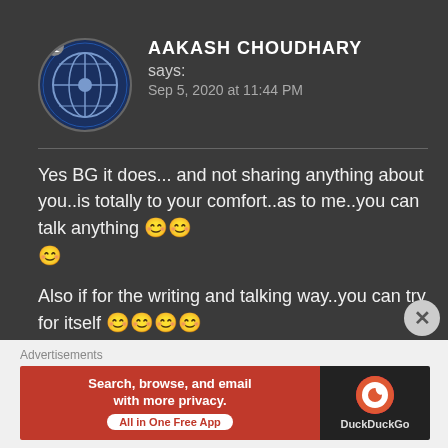[Figure (illustration): Circular avatar showing NATO logo/emblem with city background and a user profile icon badge in top-left]
AAKASH CHOUDHARY says:
Sep 5, 2020 at 11:44 PM
Yes BG it does... and not sharing anything about you..is totally to your comfort..as to me..you can talk anything 😊😊😊

Also if for the writing and talking way..you can try for itself 😊😊😊😊
Advertisements
[Figure (screenshot): DuckDuckGo advertisement banner: orange left panel with text 'Search, browse, and email with more privacy. All in One Free App' and dark right panel with DuckDuckGo logo]